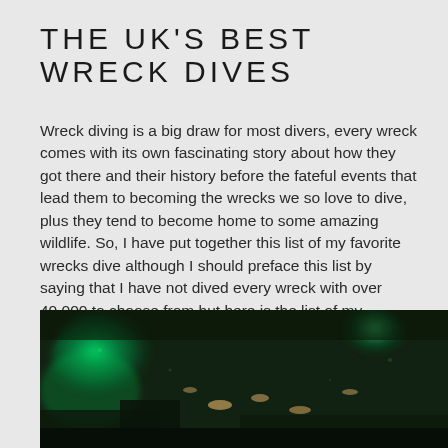THE UK'S BEST WRECK DIVES
Wreck diving is a big draw for most divers, every wreck comes with its own fascinating story about how they got there and their history before the fateful events that lead them to becoming the wrecks we so love to dive, plus they tend to become home to some amazing wildlife. So, I have put together this list of my favorite wrecks dive although I should preface this list by saying that I have not dived every wreck with over 40,000 to choose from but here is the list of my personal favorite wreck dive around the UK in no real order as they all have something special about them.
[Figure (photo): Underwater wreck dive photo showing green-lit murky water with silhouettes of marine life and wreck structure]